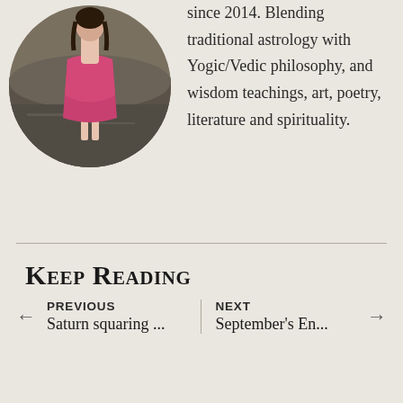[Figure (photo): Circular cropped photo of a person in a pink/red dress standing on a dark wet surface, possibly a beach or muddy ground.]
since 2014. Blending traditional astrology with Yogic/Vedic philosophy, and wisdom teachings, art, poetry, literature and spirituality.
Keep Reading
PREVIOUS
Saturn squaring ...
NEXT
September's En...